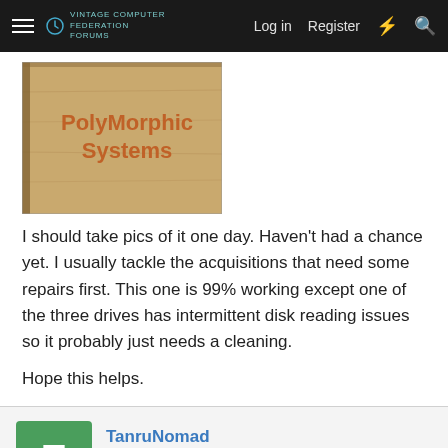≡ [Forum logo] Log in  Register  ⚡  🔍
[Figure (photo): A wooden box labeled 'PolyMorphic Systems' in orange text on a light tan/beige wood grain surface]
I should take pics of it one day. Haven't had a chance yet. I usually tackle the acquisitions that need some repairs first. This one is 99% working except one of the three drives has intermittent disk reading issues so it probably just needs a cleaning.
Hope this helps.
TanruNomad
Veteran Member
Jan 8, 2015
#9
Awesome, very nice to see the pictures. The PolyMorphic